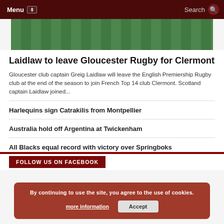Menu | Search
[Figure (photo): Grass field with rugby players' feet/legs visible at top, hero banner image]
Laidlaw to leave Gloucester Rugby for Clermont
Gloucester club captain Greig Laidlaw will leave the English Premiership Rugby club at the end of the season to join French Top 14 club Clermont. Scotland captain Laidlaw joined...
Harlequins sign Catrakilis from Montpellier
Australia hold off Argentina at Twickenham
All Blacks equal record with victory over Springboks
FOLLOW US ON FACEBOOK
By continuing to use the site, you agree to the use of cookies. more information Accept